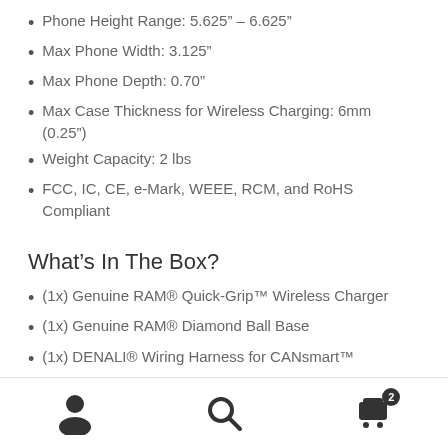Phone Height Range: 5.625” – 6.625”
Max Phone Width: 3.125”
Max Phone Depth: 0.70”
Max Case Thickness for Wireless Charging: 6mm (0.25”)
Weight Capacity: 2 lbs
FCC, IC, CE, e-Mark, WEEE, RCM, and RoHS Compliant
What’s In The Box?
(1x) Genuine RAM® Quick-Grip™ Wireless Charger
(1x) Genuine RAM® Diamond Ball Base
(1x) DENALI® Wiring Harness for CANsmart™
Navigation icons: person, search, cart (2)